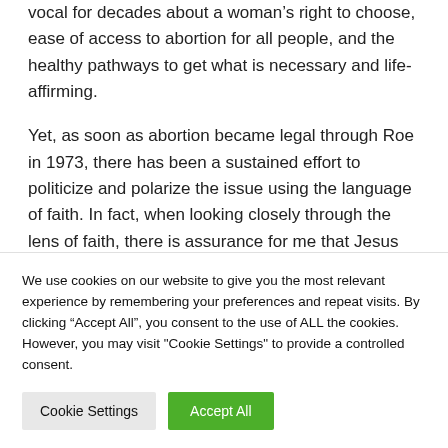vocal for decades about a woman's right to choose, ease of access to abortion for all people, and the healthy pathways to get what is necessary and life-affirming.
Yet, as soon as abortion became legal through Roe in 1973, there has been a sustained effort to politicize and polarize the issue using the language of faith. In fact, when looking closely through the lens of faith, there is assurance for me that Jesus
We use cookies on our website to give you the most relevant experience by remembering your preferences and repeat visits. By clicking "Accept All", you consent to the use of ALL the cookies. However, you may visit "Cookie Settings" to provide a controlled consent.